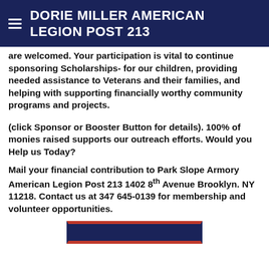DORIE MILLER AMERICAN LEGION POST 213
are welcomed. Your participation is vital to continue sponsoring Scholarships- for our children, providing needed assistance to Veterans and their families, and helping with supporting financially worthy community programs and projects.
(click Sponsor or Booster Button for details). 100% of monies raised supports our outreach efforts. Would you Help us Today?
Mail your financial contribution to Park Slope Armory American Legion Post 213 1402 8th Avenue Brooklyn. NY 11218. Contact us at 347 645-0139 for membership and volunteer opportunities.
[Figure (other): Partial view of a button or banner at the bottom of the page]